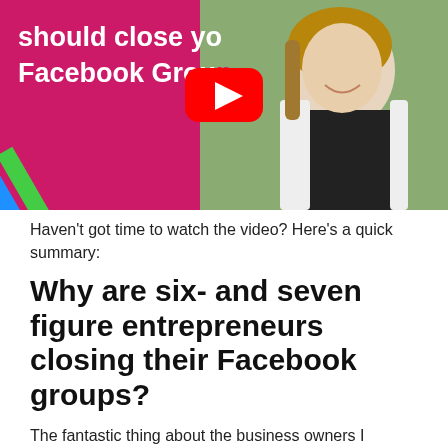[Figure (screenshot): YouTube video thumbnail showing a smiling woman with long hair on a pink/magenta background with diagonal colored stripes (yellow, blue, green) and white bold text reading 'should close yo Facebook Grou' with a YouTube play button overlay]
Haven't got time to watch the video? Here's a quick summary:
Why are six- and seven figure entrepreneurs closing their Facebook groups?
The fantastic thing about the business owners I mentioned above is they are being very open with the reasons for shutting down their Facebook